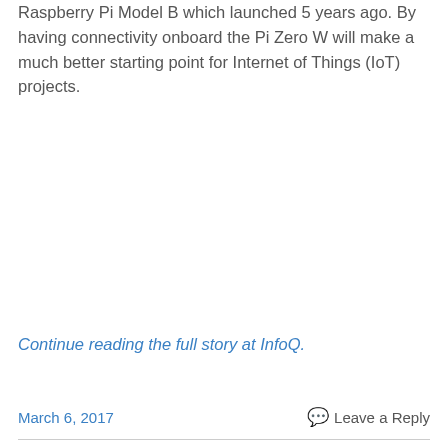Raspberry Pi Model B which launched 5 years ago. By having connectivity onboard the Pi Zero W will make a much better starting point for Internet of Things (IoT) projects.
Continue reading the full story at InfoQ.
March 6, 2017   Leave a Reply